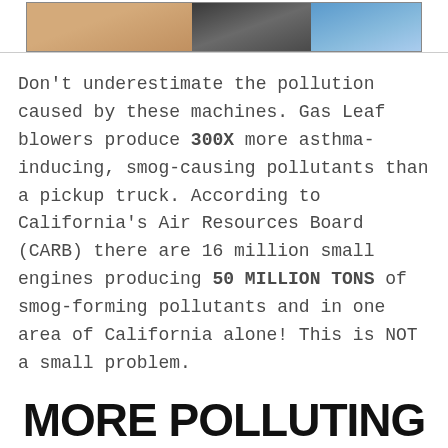[Figure (photo): Photo strip showing birds and blue sky/equipment across three segments]
Don't underestimate the pollution caused by these machines. Gas Leaf blowers produce 300X more asthma-inducing, smog-causing pollutants than a pickup truck. According to California's Air Resources Board (CARB) there are 16 million small engines producing 50 MILLION TONS of smog-forming pollutants and in one area of California alone! This is NOT a small problem.
MORE POLLUTING THAN CARS?
YES